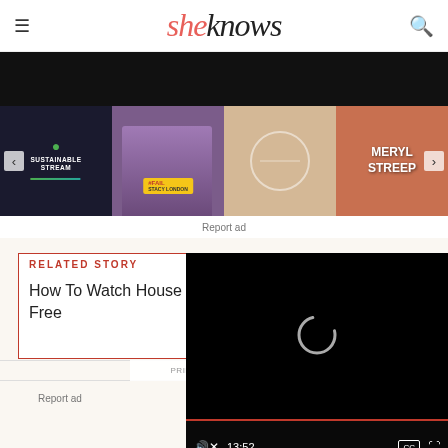sheknows
[Figure (screenshot): Black banner area at top of page]
[Figure (screenshot): Thumbnail strip with video thumbnails: Sustainable Stream, #FAIL Stacy London, game show panel, Meryl Streep]
Report ad
RELATED STORY
How To Watch House of Free
[Figure (screenshot): Video player overlay showing loading spinner, progress bar, and controls with volume, timestamp 13:52, CC button, and fullscreen button]
Report ad